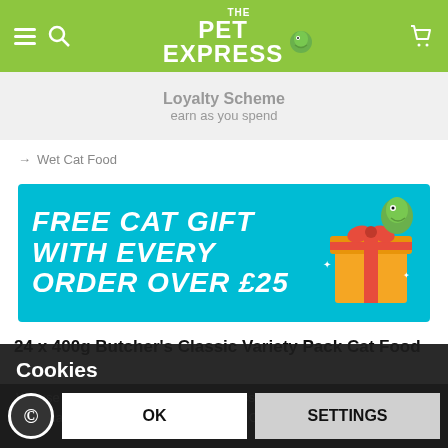[Figure (screenshot): The Pet Express navigation bar with hamburger menu, search icon, logo, and cart icon on green background]
Loyalty Scheme
earn as you spend
→ Wet Cat Food
[Figure (illustration): Promotional banner: FREE CAT GIFT WITH EVERY ORDER OVER £25 on teal background with illustrated gift box]
24 x 400g Butcher's Classic Variety Pack Cat Food
Cookies
We use cookies to give you the best possible experience and to deliver personalised advertising tailored to you. Click 'Settings' to find out more.
OK
SETTINGS